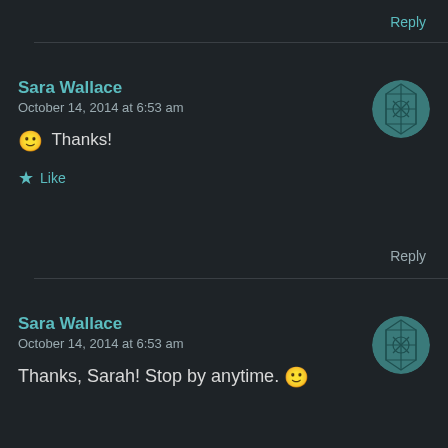Reply
Sara Wallace
October 14, 2014 at 6:53 am
🙂 Thanks!
★ Like
Reply
Sara Wallace
October 14, 2014 at 6:53 am
Thanks, Sarah! Stop by anytime. 🙂